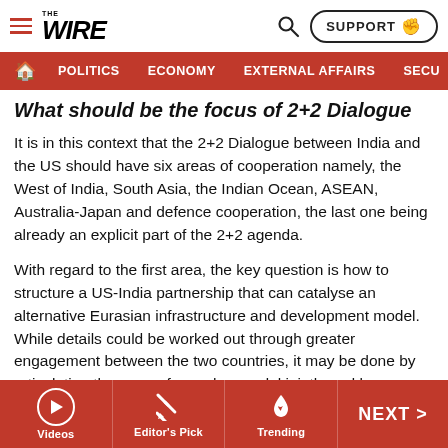THE WIRE
POLITICS | ECONOMY | EXTERNAL AFFAIRS | SECU...
What should be the focus of 2+2 Dialogue
It is in this context that the 2+2 Dialogue between India and the US should have six areas of cooperation namely, the West of India, South Asia, the Indian Ocean, ASEAN, Australia-Japan and defence cooperation, the last one being already an explicit part of the 2+2 agenda.
With regard to the first area, the key question is how to structure a US-India partnership that can catalyse an alternative Eurasian infrastructure and development model. While details could be worked out through greater engagement between the two countries, it may be done by articulating the norms for such a model jointly and by
Videos | Editor's Pick | Trending | NEXT >